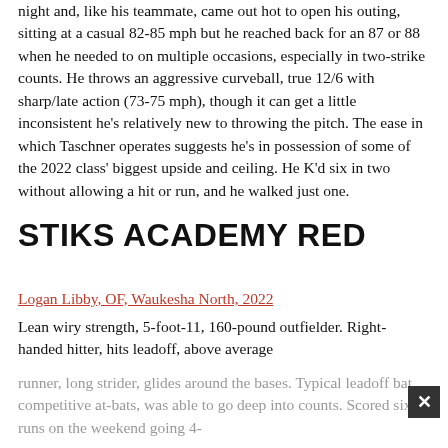night and, like his teammate, came out hot to open his outing, sitting at a casual 82-85 mph but he reached back for an 87 or 88 when he needed to on multiple occasions, especially in two-strike counts. He throws an aggressive curveball, true 12/6 with sharp/late action (73-75 mph), though it can get a little inconsistent he's relatively new to throwing the pitch. The ease in which Taschner operates suggests he's in possession of some of the 2022 class' biggest upside and ceiling. He K'd six in two without allowing a hit or run, and he walked just one.
STIKS ACADEMY RED
Logan Libby, OF, Waukesha North, 2022
Lean wiry strength, 5-foot-11, 160-pound outfielder. Right-handed hitter, hits leadoff, above average runner, long strider, glides around the bases. Typical leadoff bat, competitive at-bats, was able to go deep into counts. Scored six runs on the weekend going 4-